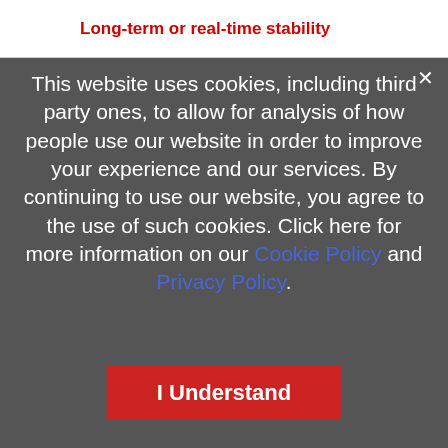Long-term or real-time stability
This website uses cookies, including third party ones, to allow for analysis of how people use our website in order to improve your experience and our services. By continuing to use our website, you agree to the use of such cookies. Click here for more information on our Cookie Policy and Privacy Policy.
I Understand